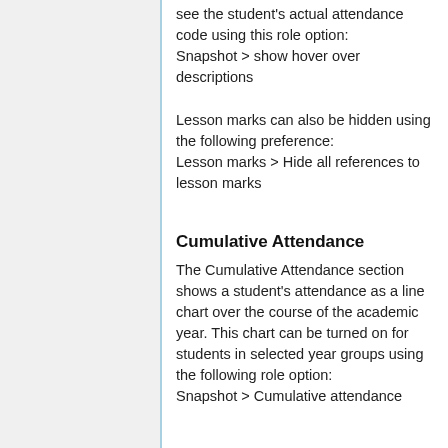see the student's actual attendance code using this role option:
Snapshot > show hover over descriptions
Lesson marks can also be hidden using the following preference:
Lesson marks > Hide all references to lesson marks
Cumulative Attendance
The Cumulative Attendance section shows a student's attendance as a line chart over the course of the academic year. This chart can be turned on for students in selected year groups using the following role option:
Snapshot > Cumulative attendance